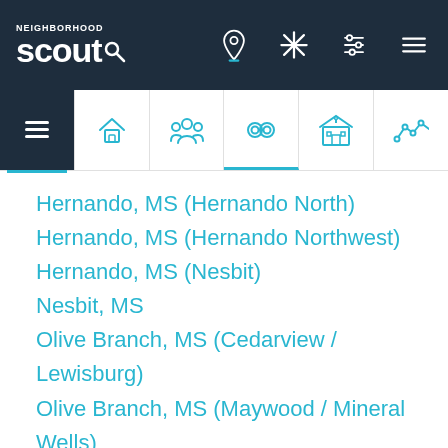Neighborhood Scout navigation bar
Hernando, MS (Hernando North)
Hernando, MS (Hernando Northwest)
Hernando, MS (Nesbit)
Nesbit, MS
Olive Branch, MS (Cedarview / Lewisburg)
Olive Branch, MS (Maywood / Mineral Wells)
Olive Branch, MS (Olive Branch Southwest)
Southaven, MS (Deerchase / Southern Pines)
Southaven, MS (Dickens Place)
Southaven, MS (Gardens of Belle Pointe)